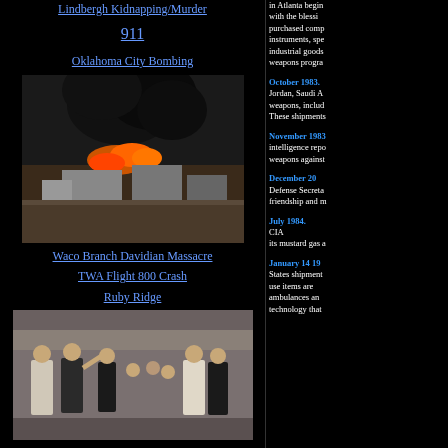Lindbergh Kidnapping/Murder
911
Oklahoma City Bombing
[Figure (photo): Aerial photograph of buildings on fire with large black smoke clouds]
Waco Branch Davidian Massacre
TWA Flight 800 Crash
Ruby Ridge
[Figure (photo): Group of men in suits standing outdoors, one waving]
in Atlanta begin with the blessing purchased comp instruments, spe industrial goods weapons progra
October 1983. Jordan, Saudi A weapons, includ These shipments
November 1983 intelligence repo weapons against
December 20 Defense Secreta friendship and m
July 1984. CIA its mustard gas a
January 14 19 States shipment use items are ambulances an technology that